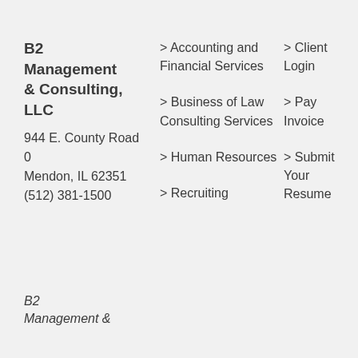B2 Management & Consulting, LLC
944 E. County Road 0
Mendon, IL 62351
(512) 381-1500
> Accounting and Financial Services
> Business of Law Consulting Services
> Human Resources
> Recruiting
> Client Login
> Pay Invoice
> Submit Your Resume
B2
Management &